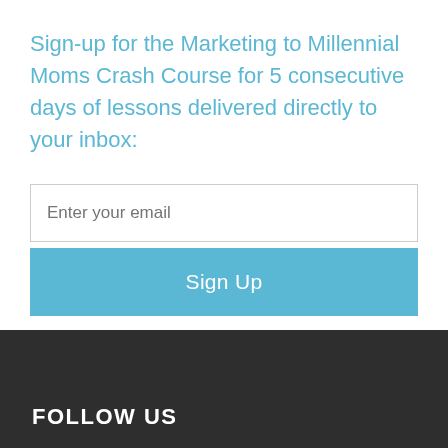Sign-up for the Marketing to Millennial Moms Crash Course for 5 consecutive days of lessons delivered directly to your inbox:
[Figure (screenshot): Email signup form with text input field labeled 'Enter your email' and a blue 'Sign Up' button]
powered by MailMunch
FOLLOW US